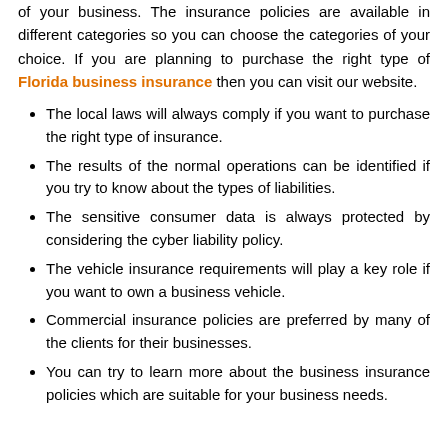of your business. The insurance policies are available in different categories so you can choose the categories of your choice. If you are planning to purchase the right type of Florida business insurance then you can visit our website.
The local laws will always comply if you want to purchase the right type of insurance.
The results of the normal operations can be identified if you try to know about the types of liabilities.
The sensitive consumer data is always protected by considering the cyber liability policy.
The vehicle insurance requirements will play a key role if you want to own a business vehicle.
Commercial insurance policies are preferred by many of the clients for their businesses.
You can try to learn more about the business insurance policies which are suitable for your business needs.